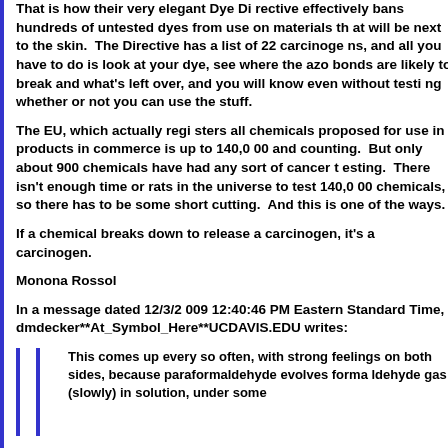That is how their very elegant Dye Directive effectively bans hundreds of untested dyes from use on materials th at will be next to the skin.  The Directive has a list of 22 carcinogens, and all you have to do is look at your dye, see where the azo bonds are likely to break and what's left over, and you will know even without testi ng whether or not you can use the stuff.
The EU, which actually regi sters all chemicals proposed for use in products in commerce is up to 140,0 00 and counting.  But only about 900 chemicals have had any sort of cancer t esting.  There isn't enough time or rats in the universe to test 140,0 00 chemicals, so there has to be some short cutting.  And this is one of the ways.
If a chemical breaks down to release a carcinogen, it's a carcinogen.
Monona Rossol
In a message dated 12/3/2 009 12:40:46 PM Eastern Standard Time, dmdecker**At_Symbol_Here**UCDAVIS.EDU writes:
This comes up every so often, with strong feelings on both sides, because paraformaldehyde evolves forma ldehyde gas (slowly) in solution, under some